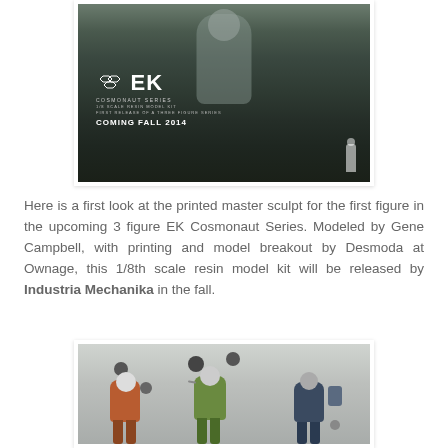[Figure (photo): Black and white photo of a cosmonaut figure model/sculpt with EK Cosmonaut Series branding, 1/8 scale resin model kit, Coming Fall 2014]
Here is a first look at the printed master sculpt for the first figure in the upcoming 3 figure EK Cosmonaut Series. Modeled by Gene Campbell, with printing and model breakout by Desmoda at Ownage, this 1/8th scale resin model kit will be released by Industria Mechanika in the fall.
[Figure (photo): Illustration of three cosmonaut figures in colored suits (orange, green, blue) with spherical backpack elements and tubes, concept art for EK Cosmonaut Series]